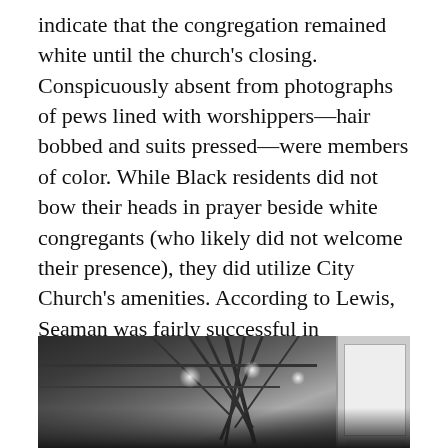indicate that the congregation remained white until the church's closing. Conspicuously absent from photographs of pews lined with worshippers—hair bobbed and suits pressed—were members of color. While Black residents did not bow their heads in prayer beside white congregants (who likely did not welcome their presence), they did utilize City Church's amenities. According to Lewis, Seaman was fairly successful in promoting the community hall "'as a religiously neutral ground for artistic and civic events,'" although "there was little mixing of cultures."
[Figure (photo): Black and white photograph of an interior space showing exposed ceiling beams/trusses, hanging lights, and what appears to be framed artwork or panels on the right side.]